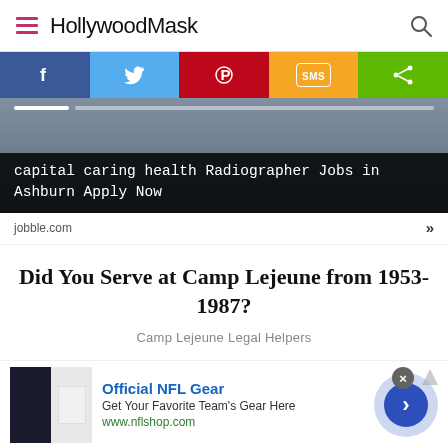HollywoodMask
[Figure (screenshot): Social sharing bar with Facebook, Twitter, Pinterest, SMS, and Share buttons]
[Figure (photo): Ad image showing radiographer job with text overlay: capital caring health Radiographer Jobs in Ashburn Apply Now]
jobble.com
Did You Serve at Camp Lejeune from 1953- 1987?
Camp Lejeune Legal Helpers
[Figure (screenshot): Bottom ad banner: Official NFL Gear - Get Your Favorite Team's Gear Here - www.nflshop.com]